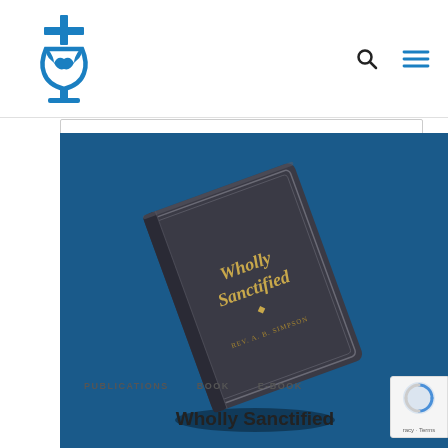[Figure (logo): Christian faith organization logo in blue — cross with a chalice/cup symbol]
[Figure (photo): Book cover 'Wholly Sanctified' displayed on a blue background, a dark grey hardcover book with gold lettering tilted at an angle]
PUBLICATIONS   BOOK   E-BOOK
Wholly Sanctified